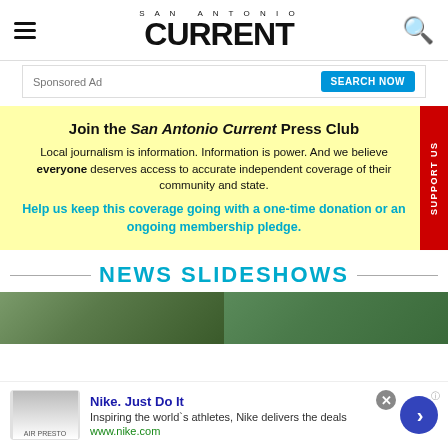SAN ANTONIO CURRENT
[Figure (screenshot): Sponsored Ad banner with Search Now button]
Join the San Antonio Current Press Club
Local journalism is information. Information is power. And we believe everyone deserves access to accurate independent coverage of their community and state.
Help us keep this coverage going with a one-time donation or an ongoing membership pledge.
NEWS SLIDESHOWS
[Figure (photo): Two slideshow thumbnail images showing outdoor/nature scenes]
[Figure (screenshot): Nike. Just Do It advertisement - Inspiring the world's athletes, Nike delivers the deals - www.nike.com]